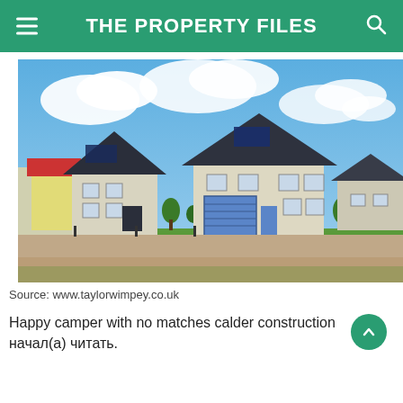THE PROPERTY FILES
[Figure (photo): Two newly built detached houses with dark roofs and solar panels, white/cream rendered walls, one with a blue garage door, set in a new housing development with green lawn in foreground and blue sky with clouds above.]
Source: www.taylorwimpey.co.uk
Happy camper with no matches calder construction начал(а) читать.